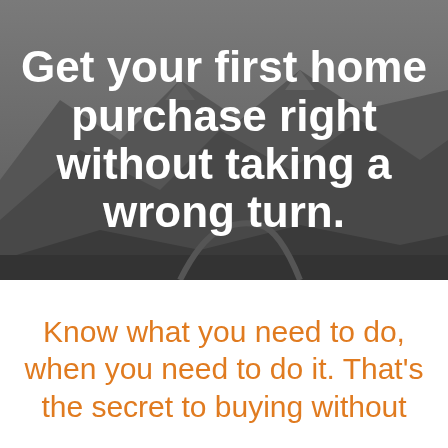[Figure (photo): Dark grayscale mountain landscape photo used as hero background image with winding road visible]
Get your first home purchase right without taking a wrong turn.
Know what you need to do, when you need to do it. That's the secret to buying without